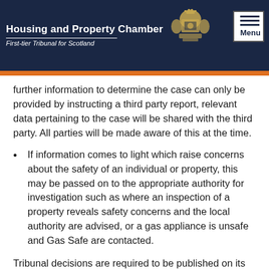Housing and Property Chamber First-tier Tribunal for Scotland
further information to determine the case can only be provided by instructing a third party report, relevant data pertaining to the case will be shared with the third party. All parties will be made aware of this at the time.
If information comes to light which raise concerns about the safety of an individual or property, this may be passed on to the appropriate authority for investigation such as where an inspection of a property reveals safety concerns and the local authority are advised, or a gas appliance is unsafe and Gas Safe are contacted.
Tribunal decisions are required to be published on its website under Rule 26(10) of the First-tier Tribunal for Scotland Housing and Property Chamber (Procedure) ...